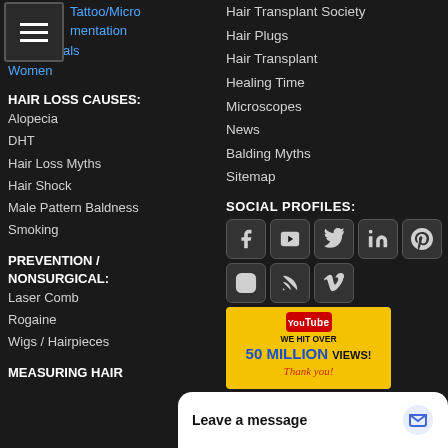[Figure (screenshot): Hamburger menu button (three white lines on dark background)]
Tattoo/Micro
mentation
Testimonials
Women
HAIR LOSS CAUSES:
Alopecia
DHT
Hair Loss Myths
Hair Shock
Male Pattern Baldness
Smoking
PREVENTION / NONSURGICAL:
Laser Comb
Rogaine
Wigs / Hairpieces
MEASURING HAIR
Hair Transplant Society
Hair Plugs
Hair Transplant
Healing Time
Microscopes
News
Balding Myths
Sitemap
SOCIAL PROFILES:
[Figure (screenshot): Social media icons: Facebook, YouTube, Twitter, LinkedIn, Pinterest, Instagram, RSS, Vimeo]
[Figure (screenshot): YouTube banner: WE HIT OVER 50 MILLION VIEWS! Thank you!]
Leave a message